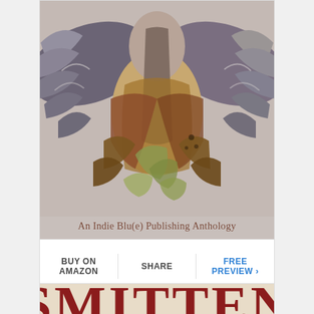[Figure (illustration): Watercolor illustration of a bird of prey with spread wings in browns, grays, and greens on a beige/tan background, with text 'An Indie Blu(e) Publishing Anthology' below the image]
BUY ON AMAZON
SHARE
FREE PREVIEW ›
[Figure (illustration): Book cover with beige/tan texture background showing large red text 'SMITTEN' at the bottom]